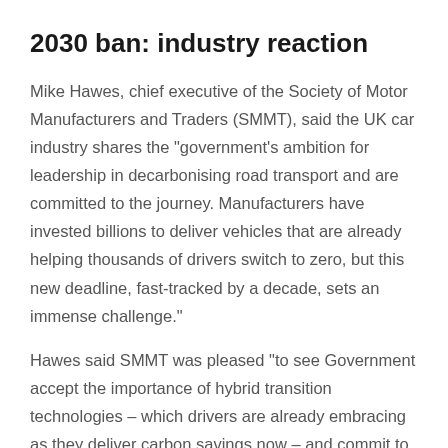2030 ban: industry reaction
Mike Hawes, chief executive of the Society of Motor Manufacturers and Traders (SMMT), said the UK car industry shares the "government's ambition for leadership in decarbonising road transport and are committed to the journey. Manufacturers have invested billions to deliver vehicles that are already helping thousands of drivers switch to zero, but this new deadline, fast-tracked by a decade, sets an immense challenge."
Hawes said SMMT was pleased "to see Government accept the importance of hybrid transition technologies – which drivers are already embracing as they deliver carbon savings now – and commit to additional spending on